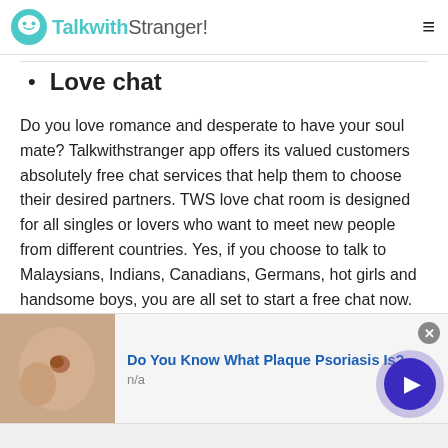TalkwithStranger!
Love chat
Do you love romance and desperate to have your soul mate? Talkwithstranger app offers its valued customers absolutely free chat services that help them to choose their desired partners. TWS love chat room is designed for all singles or lovers who want to meet new people from different countries. Yes, if you choose to talk to Malaysians, Indians, Canadians, Germans, hot girls and handsome boys, you are all set to start a free chat now.
[Figure (other): Advertisement banner: Do You Know What Plaque Psoriasis Is? with skin image thumbnail]